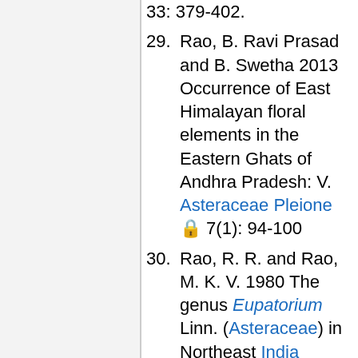33: 379-402.
29. Rao, B. Ravi Prasad and B. Swetha 2013 Occurrence of East Himalayan floral elements in the Eastern Ghats of Andhra Pradesh: V. Asteraceae Pleione 7(1): 94-100
30. Rao, R. R. and Rao, M. K. V. 1980 The genus Eupatorium Linn. (Asteraceae) in Northeast India Proceedings of the Indian National